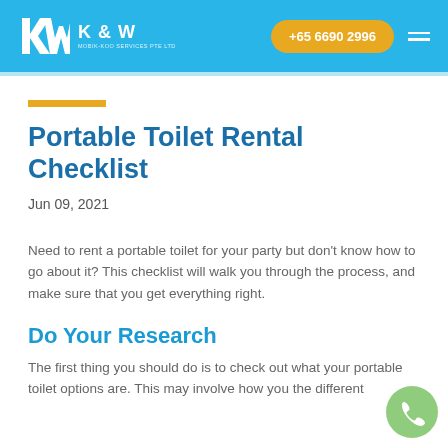K & W | +65 6690 2996
Portable Toilet Rental Checklist
Jun 09, 2021
Need to rent a portable toilet for your party but don't know how to go about it? This checklist will walk you through the process, and make sure that you get everything right.
Do Your Research
The first thing you should do is to check out what your portable toilet options are. This may involve how you the different